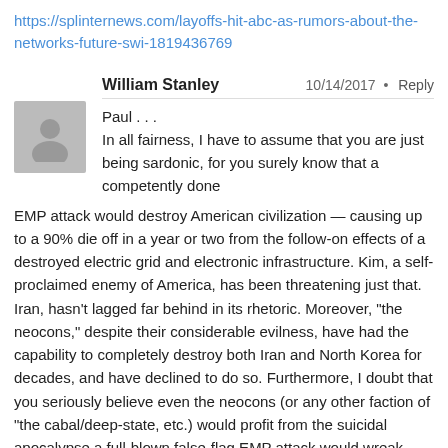https://splinternews.com/layoffs-hit-abc-as-rumors-about-the-networks-future-swi-1819436769
William Stanley   10/14/2017  •  Reply
Paul . . .
In all fairness, I have to assume that you are just being sardonic, for you surely know that a competently done EMP attack would destroy American civilization — causing up to a 90% die off in a year or two from the follow-on effects of a destroyed electric grid and electronic infrastructure. Kim, a self-proclaimed enemy of America, has been threatening just that. Iran, hasn't lagged far behind in its rhetoric. Moreover, "the neocons," despite their considerable evilness, have had the capability to completely destroy both Iran and North Korea for decades, and have declined to do so. Furthermore, I doubt that you seriously believe even the neocons (or any other faction of "the cabal/deep-state, etc.) would profit from the suicidal apocalypse a full-blown false-flag EMP attack would wreak upon America.
So here we are: two avowed mortal enemies of America